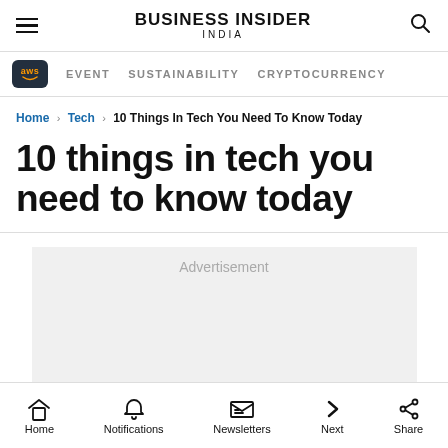BUSINESS INSIDER INDIA
EVENT   SUSTAINABILITY   CRYPTOCURRENCY
Home › Tech › 10 Things In Tech You Need To Know Today
10 things in tech you need to know today
Advertisement
Home   Notifications   Newsletters   Next   Share